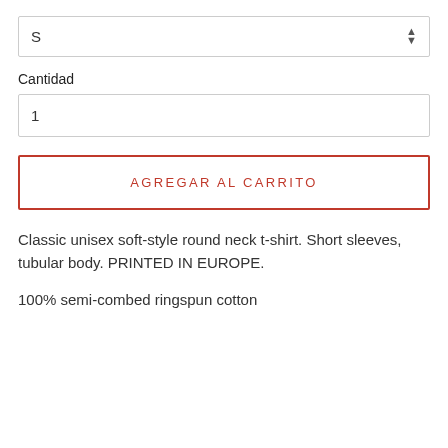S
Cantidad
1
AGREGAR AL CARRITO
Classic unisex soft-style round neck t-shirt. Short sleeves, tubular body. PRINTED IN EUROPE.
100% semi-combed ringspun cotton